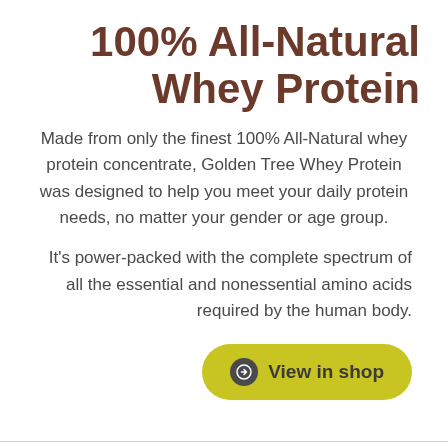100% All-Natural Whey Protein
Made from only the finest 100% All-Natural whey protein concentrate, Golden Tree Whey Protein was designed to help you meet your daily protein needs, no matter your gender or age group.
It's power-packed with the complete spectrum of all the essential and nonessential amino acids required by the human body.
View in shop